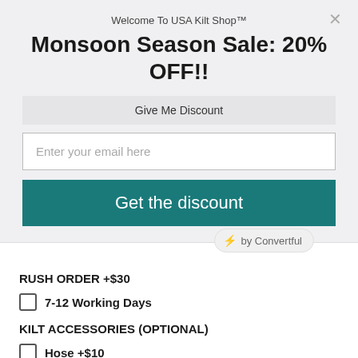Welcome To USA Kilt Shop™
Monsoon Season Sale: 20% OFF!!
Give Me Discount
Enter your email here
Get the discount
⚡ by Convertful
RUSH ORDER +$30
7-12 Working Days
KILT ACCESSORIES (OPTIONAL)
Hose +$10
Tartan Mask +$5
Scottish Cap +$20